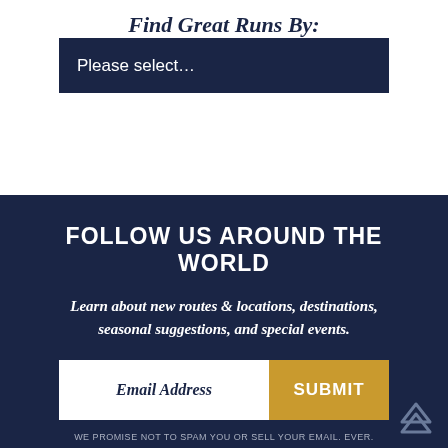Find Great Runs By:
Please select…
FOLLOW US AROUND THE WORLD
Learn about new routes & locations, destinations, seasonal suggestions, and special events.
Email Address
SUBMIT
WE PROMISE NOT TO SPAM YOU OR SELL YOUR EMAIL. EVER.
JOIN US ON THE NEXT RUN